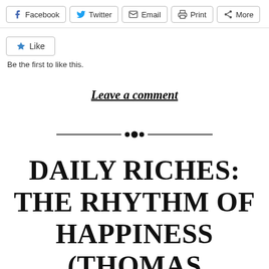[Figure (other): Social share buttons row: Facebook, Twitter, Email, Print, More]
[Figure (other): Like button widget with star icon]
Be the first to like this.
Leave a comment
[Figure (other): Decorative horizontal divider with dots in center]
DAILY RICHES: THE RHYTHM OF HAPPINESS (THOMAS